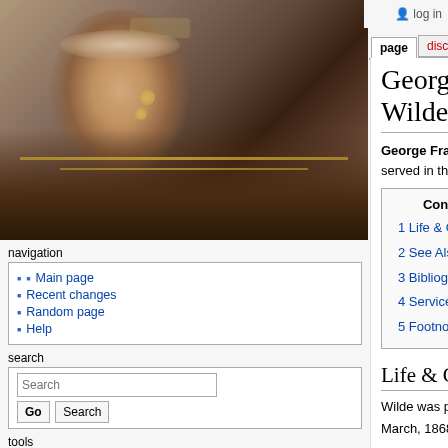[Figure (photo): Portrait painting of George Francis Faxon Wilde, a military officer in uniform with medals and epaulettes]
log in
page | discussion | view source | history
Main page
Recent changes
Random page
Help
What links here
Related changes
Special pages
Printable version
Permanent link
George Francis Faxon Wilde
George Francis Faxon Wilde (23 February, 1845 – ) served in the United States Navy.
| Contents |
| --- |
| 1 Life & Career |
| 2 See Also |
| 3 Bibliography |
| 4 Service Records |
| 5 Footnotes |
Life & Career
Wilde was promoted to the rank of Lieutenant on 12 March, 1868.[1]
Wilde was promoted to the rank of Lieutenant Commander on 18 December, 1868.[2]
Wilde was promoted to the rank of Commander